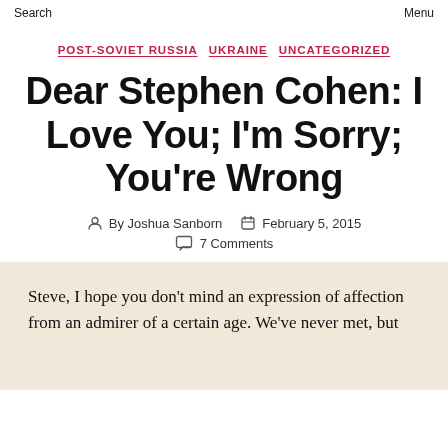Search  Menu
POST-SOVIET RUSSIA  UKRAINE  UNCATEGORIZED
Dear Stephen Cohen: I Love You; I'm Sorry; You're Wrong
By Joshua Sanborn  February 5, 2015
7 Comments
Steve, I hope you don't mind an expression of affection from an admirer of a certain age. We've never met, but